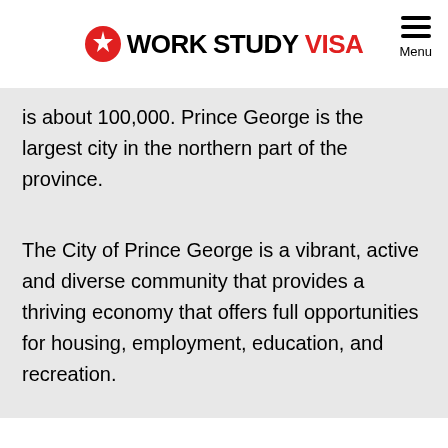WORKSTUDY VISA
is about 100,000. Prince George is the largest city in the northern part of the province.
The City of Prince George is a vibrant, active and diverse community that provides a thriving economy that offers full opportunities for housing, employment, education, and recreation.